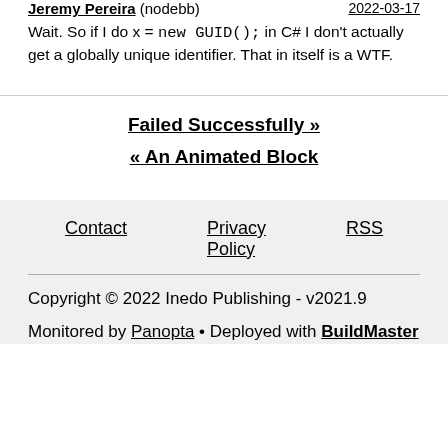Jeremy Pereira (nodebb) 2022-03-17
Wait. So if I do x = new GUID(); in C# I don't actually get a globally unique identifier. That in itself is a WTF.
Failed Successfully »
« An Animated Block
Contact   Privacy Policy   RSS
Copyright © 2022 Inedo Publishing - v2021.9
Monitored by Panopta • Deployed with BuildMaster